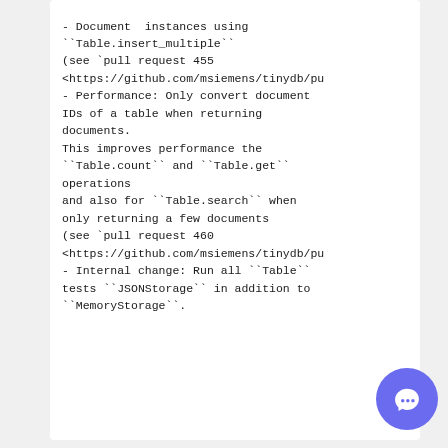- Document  instances using ``Table.insert_multiple`` (see `pull request 455 <https://github.com/msiemens/tinydb/pu
- Performance: Only convert document IDs of a table when returning documents.
This improves performance the ``Table.count`` and ``Table.get`` operations
and also for ``Table.search`` when only returning a few documents (see `pull request 460 <https://github.com/msiemens/tinydb/pu
- Internal change: Run all ``Table`` tests ``JSONStorage`` in addition to ``MemoryStorage``.